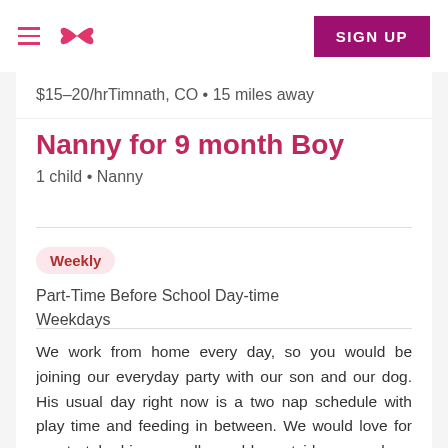☰  ∞  SIGN UP
$15–20/hrTimnath, CO • 15 miles away
Nanny for 9 month Boy
1 child • Nanny
Weekly
Part-Time Before School Day-time Weekdays
We work from home every day, so you would be joining our everyday party with our son and our dog. His usual day right now is a two nap schedule with play time and feeding in between. We would love for you to take him on walks and be outside as much as you would like. He loves personal interaction... More